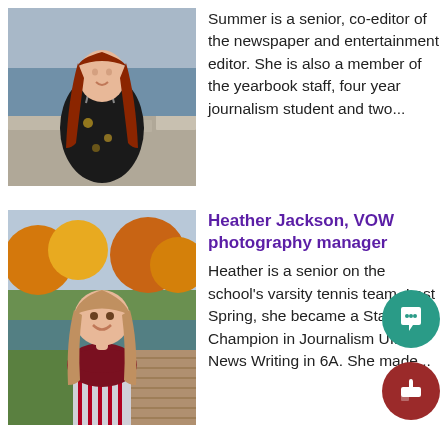[Figure (photo): Young woman with long red hair wearing a floral dress, standing outdoors near stone wall]
Summer is a senior, co-editor of the newspaper and entertainment editor. She is also a member of the yearbook staff, four year journalism student and two...
Heather Jackson, VOW photography manager
[Figure (photo): Young woman with wavy light brown hair, smiling, wearing a maroon top and striped pants, seated outdoors]
Heather is a senior on the school's varsity tennis team. Last Spring, she became a State Champion in Journalism UIL for News Writing in 6A. She made...